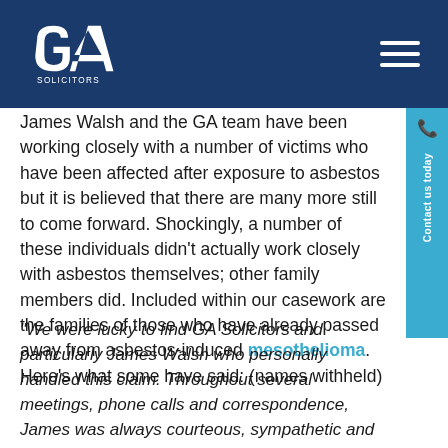GA Solicitors
James Walsh and the GA team have been working closely with a number of victims who have been affected after exposure to asbestos but it is believed that there are many more still to come forward. Shockingly, a number of these individuals didn't actually work closely with asbestos themselves; other family members did. Included within our casework are the families of those who have already passed away from asbestos-induced mesothelioma. Here's what some have said: (names withheld)
“We were lucky to find GA Solicitors and particularly James Walsh who personally handled this claim. Throughout several meetings, phone calls and correspondence, James was always courteous, sympathetic and extremely efficient.”